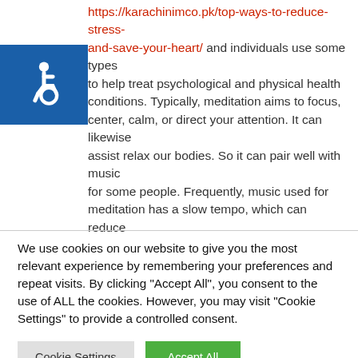https://karachinimco.pk/top-ways-to-reduce-stress-and-save-your-heart/ and individuals use some types to help treat psychological and physical health conditions. Typically, meditation aims to focus, center, calm, or direct your attention. It can likewise assist relax our bodies. So it can pair well with music for some people. Frequently, music used for meditation has a slow tempo, which can reduce heart rate, and likewise lower stress and anxiety and tension levels.
[Figure (illustration): Accessibility icon: white wheelchair symbol on blue square background]
We use cookies on our website to give you the most relevant experience by remembering your preferences and repeat visits. By clicking "Accept All", you consent to the use of ALL the cookies. However, you may visit "Cookie Settings" to provide a controlled consent.